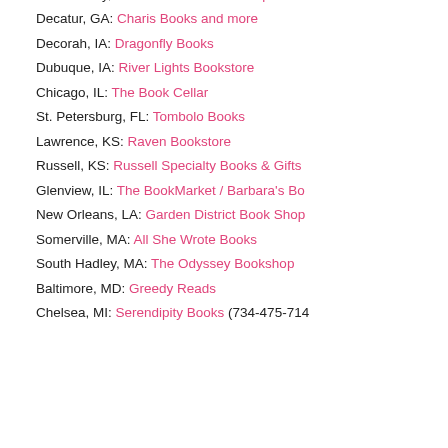Glastonbury, CT: River Bend Bookshop
Decatur, GA: Charis Books and more
Decorah, IA: Dragonfly Books
Dubuque, IA: River Lights Bookstore
Chicago, IL: The Book Cellar
St. Petersburg, FL: Tombolo Books
Lawrence, KS: Raven Bookstore
Russell, KS: Russell Specialty Books & Gifts
Glenview, IL: The BookMarket / Barbara's Bo...
New Orleans, LA: Garden District Book Shop
Somerville, MA: All She Wrote Books
South Hadley, MA: The Odyssey Bookshop
Baltimore, MD: Greedy Reads
Chelsea, MI: Serendipity Books (734-475-714...